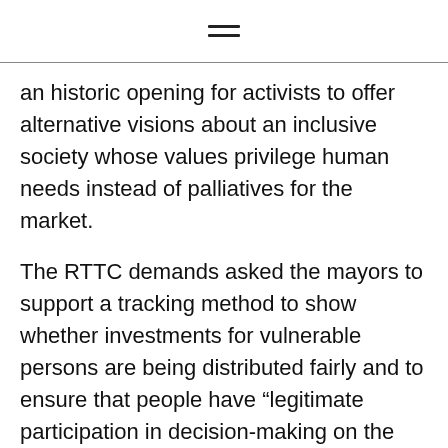an historic opening for activists to offer alternative visions about an inclusive society whose values privilege human needs instead of palliatives for the market.
The RTTC demands asked the mayors to support a tracking method to show whether investments for vulnerable persons are being distributed fairly and to ensure that people have “legitimate participation in decision-making on the allocation of funds, with concrete mechanisms and processes for holding elected and appointed officials accountable to answering the needs of their own communities.” RTTC was not the only group to seize the moment. The local